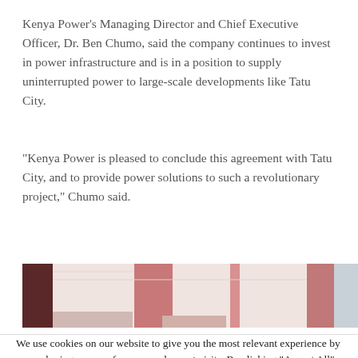Kenya Power's Managing Director and Chief Executive Officer, Dr. Ben Chumo, said the company continues to invest in power infrastructure and is in a position to supply uninterrupted power to large-scale developments like Tatu City.
“Kenya Power is pleased to conclude this agreement with Tatu City, and to provide power solutions to such a revolutionary project,” Chumo said.
[Figure (photo): Partial view of a building with pink/red architectural elements against a light background]
We use cookies on our website to give you the most relevant experience by remembering your preferences and repeat visits. By clicking “Accept All”, you consent to the use of ALL the cookies. However, you may visit "Cookie Settings" to provide a controlled consent.
Cookie Settings | Accept All